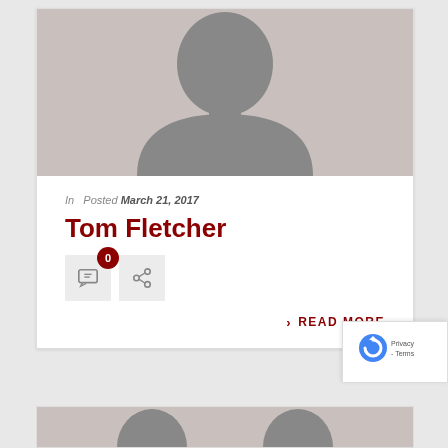[Figure (photo): Grey silhouette placeholder avatar image for a person]
In  Posted March 21, 2017
Tom Fletcher
[Figure (other): Comment button with badge showing 0 and share button]
› READ MORE
[Figure (other): reCAPTCHA widget overlay with Privacy - Terms label]
[Figure (photo): Partial grey silhouette placeholder avatar image at bottom of page]